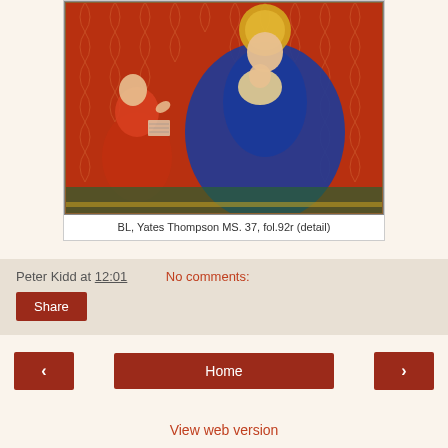[Figure (illustration): Medieval manuscript illumination showing the Virgin Mary in blue robes holding the Christ Child, with a kneeling figure in red robes at left, against an ornate red patterned background. BL, Yates Thompson MS. 37, fol.92r (detail)]
BL, Yates Thompson MS. 37, fol.92r (detail)
Peter Kidd at 12:01    No comments:
Share
‹   Home   ›
View web version